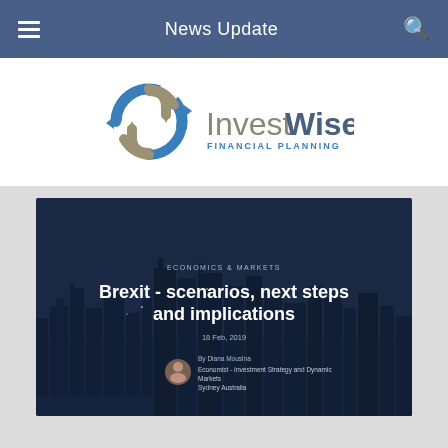News Update
[Figure (logo): InvestWise Financial Planning logo with circular blue and grey arrow icon]
[Figure (screenshot): Article preview image with dark city skyline background. Category: ECONOMICS & MARKETS. Title: Brexit - scenarios, next steps and implications. Date: 18 Feb, 2019. By Diana Mousina, Economist - Investment Strategy and Dynamic Markets, Sydney Australia.]